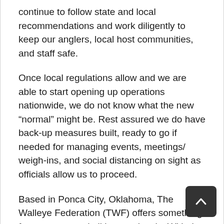continue to follow state and local recommendations and work diligently to keep our anglers, local host communities, and staff safe.
Once local regulations allow and we are able to start opening up operations nationwide, we do not know what the new “normal” might be. Rest assured we do have back-up measures built, ready to go if needed for managing events, meetings/ weigh-ins, and social distancing on sight as officials allow us to proceed.
Based in Ponca City, Oklahoma, The Walleye Federation (TWF) offers something for everyone and all income levels. With the support of some of the biggest names in the tournament world such as Bass Pro Shops and Cabela’s, the World’s Foremost Outfitter for hunting, fishing and outdoor gear, Ranger Boats and Mercury Outboards.